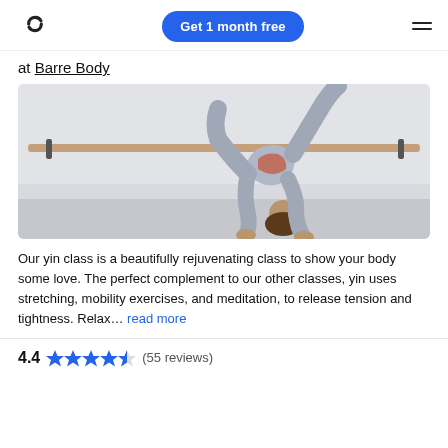Barre Body | Get 1 month free
at Barre Body
[Figure (photo): Woman in grey activewear performing a yoga/barre pose in an exercise studio, bending forward with hands on floor and legs extended, with a barre rail visible on the wall behind her.]
Our yin class is a beautifully rejuvenating class to show your body some love. The perfect complement to our other classes, yin uses stretching, mobility exercises, and meditation, to release tension and tightness. Relax... read more
4.4 ★★★★½ (55 reviews)